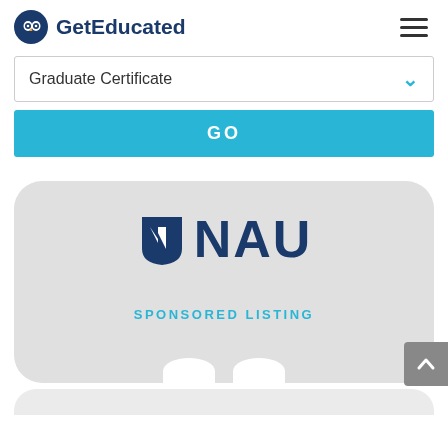GetEducated
Graduate Certificate
GO
[Figure (logo): NAU (Northern Arizona University) logo with shield icon and NAU text, shown as a sponsored listing card with rounded corners on a light gray background]
SPONSORED LISTING